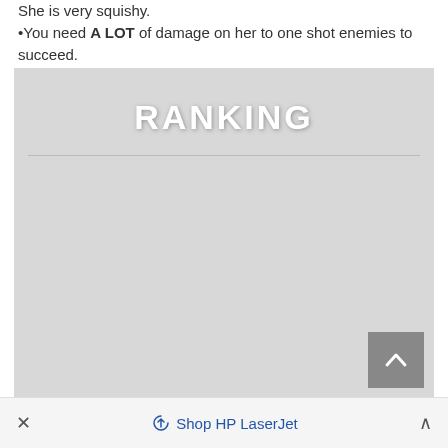She is very squishy. •You need A LOT of damage on her to one shot enemies to succeed.
[Figure (other): A gray ranking section placeholder box with the title 'RANKING' in large white bold letters and a horizontal divider line below it, with a scroll-up button in the bottom right corner]
× Shop HP LaserJet ^